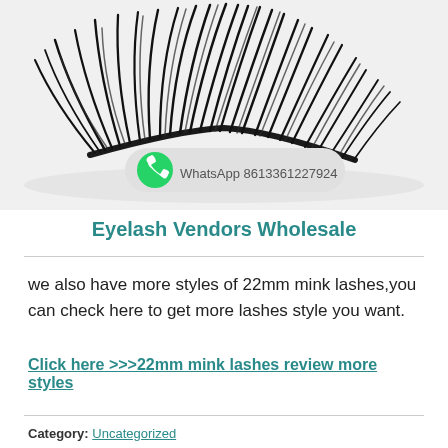[Figure (photo): Product photo of false eyelashes (mink lashes) displayed against a white/light gray background, with a WhatsApp contact badge overlay showing phone number 8613361227924]
Eyelash Vendors Wholesale
we also have more styles of 22mm mink lashes,you can check here to get more lashes style you want.
Click here >>>22mm mink lashes review more styles
Category: Uncategorized